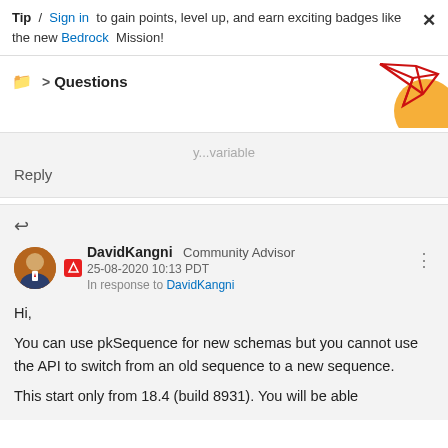Tip / Sign in to gain points, level up, and earn exciting badges like the new Bedrock Mission!
Questions
Reply
DavidKangni Community Advisor
25-08-2020 10:13 PDT
In response to DavidKangni
Hi,

You can use pkSequence for new schemas but you cannot use the API to switch from an old sequence to a new sequence.

This start only from 18.4 (build 8931). You will be able to use the API after a build up.